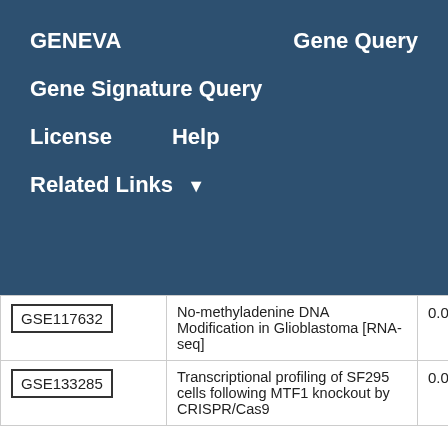GENEVA   Gene Query
Gene Signature Query
License   Help
Related Links ▼
|  | Study Description | Score |
| --- | --- | --- |
| GSE117632 | No-methyladenine DNA Modification in Glioblastoma [RNA-seq] | 0.02 |
| GSE133285 | Transcriptional profiling of SF295 cells following MTF1 knockout by CRISPR/Cas9 | 0.01 |